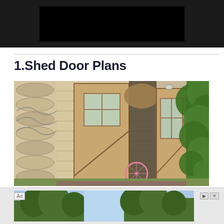[Figure (photo): Dark banner/header area at top of webpage with black rectangle in center]
1.Shed Door Plans
[Figure (photo): Photograph of a rustic wooden log shed with double doors open, showing interior with bicycles and garden equipment inside, surrounded by green trees and bushes]
[Figure (photo): Advertisement banner at bottom showing a partial outdoor/nature scene with Ad label and close button]